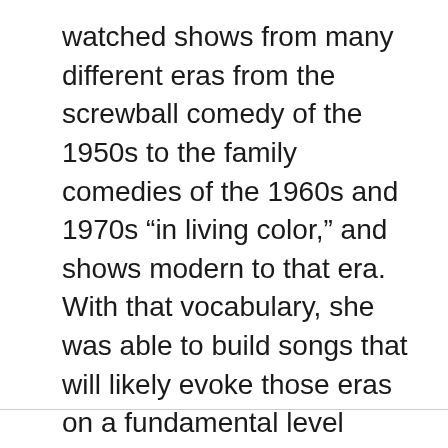watched shows from many different eras from the screwball comedy of the 1950s to the family comedies of the 1960s and 1970s “in living color,” and shows modern to that era. With that vocabulary, she was able to build songs that will likely evoke those eras on a fundamental level while still being wholly unique to WandaVision.